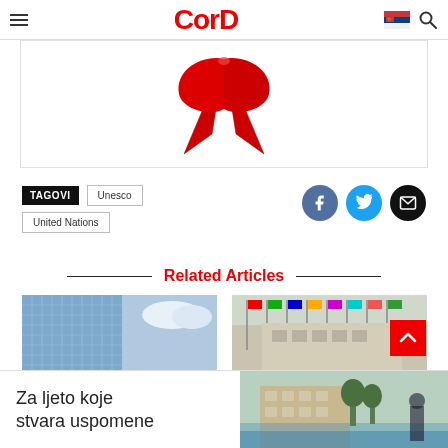CorD
[Figure (illustration): Red ribbon (HIV/AIDS awareness ribbon) on white background]
TAGOVI  Unesco  United Nations
[Figure (infographic): Social sharing buttons: Facebook (blue circle), Twitter (cyan circle), Email (black circle)]
Related Articles
[Figure (photo): Glass building facade with blue sky and clouds - related article thumbnail]
[Figure (photo): Row of international flags in front of a building - related article thumbnail]
[Figure (infographic): Advertisement banner: Za ljeto koje stvara uspomene, with hotel/resort photo]